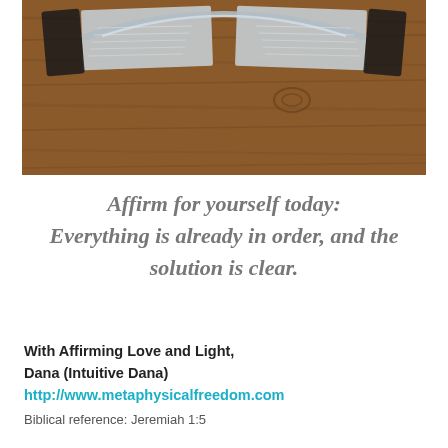[Figure (photo): Photo of an open book spine viewed from above, resting on a wooden surface. The book binding forms a curved arch shape against the wood grain background.]
Affirm for yourself today: Everything is already in order, and the solution is clear.
With Affirming Love and Light,
Dana (Intuitive Dana)
http://www.metaphysicalfreedom.com
Biblical reference: Jeremiah 1:5